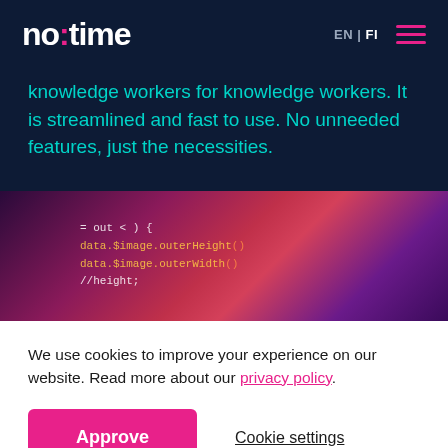no:time — EN | FI — navigation menu
knowledge workers for knowledge workers. It is streamlined and fast to use. No unneeded features, just the necessities.
[Figure (photo): Close-up photo of code on a screen with pink and purple lighting, showing JavaScript code fragments including data.$image.outerHeight and data.$image.outerWidth]
We use cookies to improve your experience on our website. Read more about our privacy policy.
Approve
Cookie settings